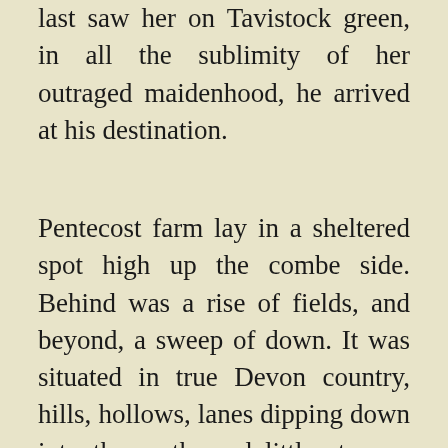last saw her on Tavistock green, in all the sublimity of her outraged maidenhood, he arrived at his destination.
Pentecost farm lay in a sheltered spot high up the combe side. Behind was a rise of fields, and beyond, a sweep of down. It was situated in true Devon country, hills, hollows, lanes dipping down into the earth, and little streams gurgling and meandering wherever there was a hollow between the hills. It was harvest time, and the crops in the fields looked their richest. The apples were ripening, and the country seemed to sleep in the sun. The farmhouse was a long